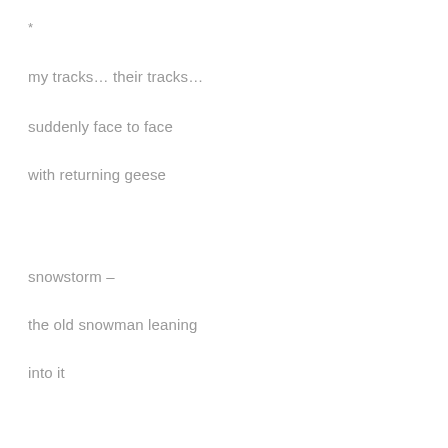*
my tracks… their tracks…
suddenly face to face
with returning geese
snowstorm –
the old snowman leaning
into it